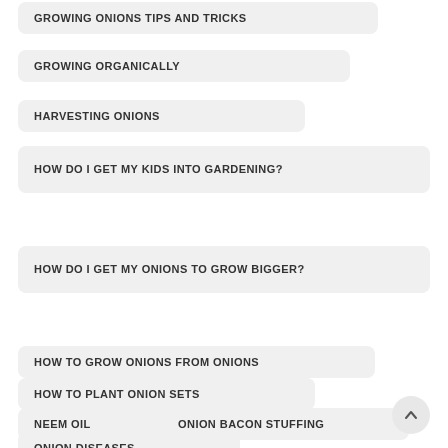GROWING ONIONS TIPS AND TRICKS
GROWING ORGANICALLY
HARVESTING ONIONS
HOW DO I GET MY KIDS INTO GARDENING?
HOW DO I GET MY ONIONS TO GROW BIGGER?
HOW TO GROW ONIONS FROM ONIONS
HOW TO PLANT ONION SETS
NEEM OIL
ONION BACON STUFFING
ONION DISEASES